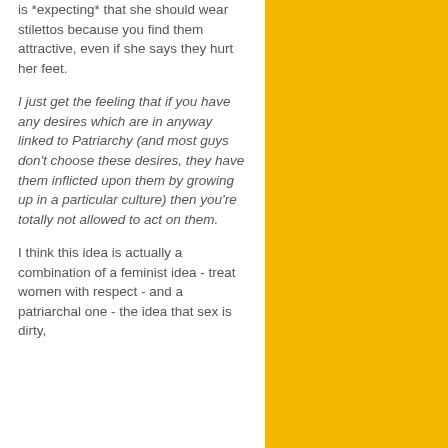is *expecting* that she should wear stilettos because you find them attractive, even if she says they hurt her feet.
I just get the feeling that if you have any desires which are in anyway linked to Patriarchy (and most guys don't choose these desires, they have them inflicted upon them by growing up in a particular culture) then you're totally not allowed to act on them.
I think this idea is actually a combination of a feminist idea - treat women with respect - and a patriarchal one - the idea that sex is dirty,